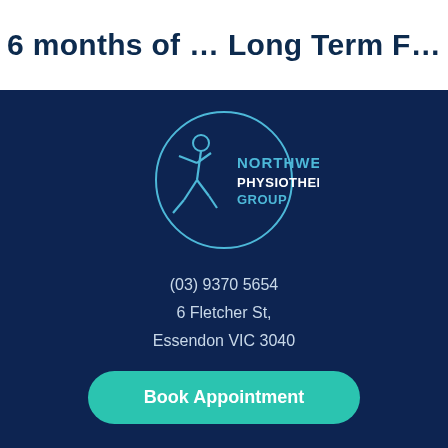6 months of … Long Term F…
[Figure (logo): Northwest Physiotherapy Group logo — circular outline with a running athlete figure in blue line art, with text 'NORTHWEST PHYSIOTHERAPY GROUP' in blue and white on dark navy background]
(03) 9370 5654
6 Fletcher St,
Essendon VIC 3040
Book Appointment
PAGES